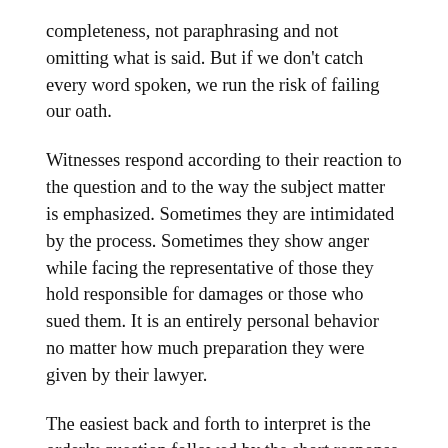completeness, not paraphrasing and not omitting what is said. But if we don't catch every word spoken, we run the risk of failing our oath.
Witnesses respond according to their reaction to the question and to the way the subject matter is emphasized. Sometimes they are intimidated by the process. Sometimes they show anger while facing the representative of those they hold responsible for damages or those who sued them. It is an entirely personal behavior no matter how much preparation they were given by their lawyer.
The easiest back and forth to interpret is the orderly question followed by the short response with no heightened emotion by either party. The other extreme is the witness who either launches into or builds up to a rapid free flow of extensive narrative, without a pause whatsoever. I call this the Waterfall